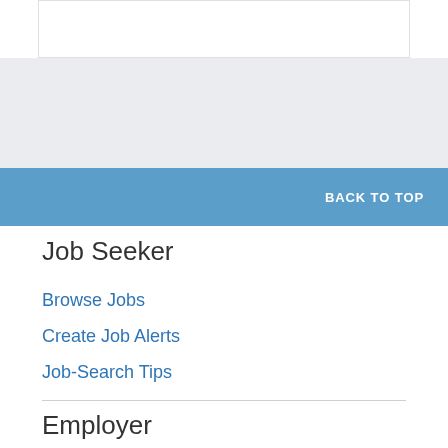[Figure (screenshot): White box at top of page, partial view of a search or form element]
BACK TO TOP
Job Seeker
Browse Jobs
Create Job Alerts
Job-Search Tips
Employer
Post a Job